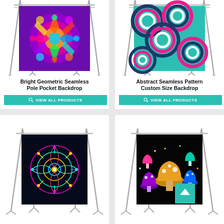[Figure (photo): Bright geometric seamless kaleidoscope pattern backdrop on a photography stand]
Bright Geometric Seamless Pole Pocket Backdrop
VIEW ALL PRODUCTS
[Figure (photo): Abstract seamless circle pattern backdrop in teal, pink, and navy on a photography stand]
Abstract Seamless Pattern Custom Size Backdrop
VIEW ALL PRODUCTS
[Figure (photo): Colorful neon mandala/flower of life pattern backdrop on a photography stand]
[Figure (photo): Colorful mushroom pattern backdrop on a photography stand with scroll-up button overlay]